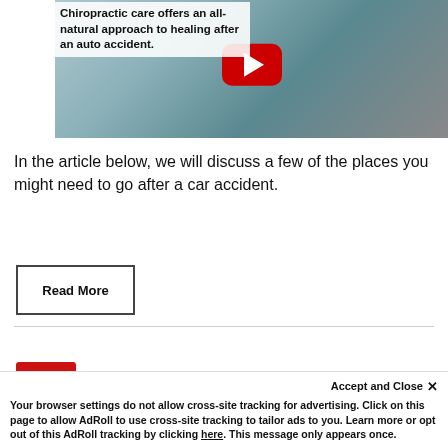[Figure (screenshot): YouTube video thumbnail showing a chiropractor treating a patient (woman in teal shirt), with a red YouTube play button overlay. Overlay text reads: 'Chiropractic care offers an all-natural approach to healing after an auto accident.']
In the article below, we will discuss a few of the places you might need to go after a car accident.
Read More
Symptoms After a Car Accident After
Accept and Close ✕
Your browser settings do not allow cross-site tracking for advertising. Click on this page to allow AdRoll to use cross-site tracking to tailor ads to you. Learn more or opt out of this AdRoll tracking by clicking here. This message only appears once.